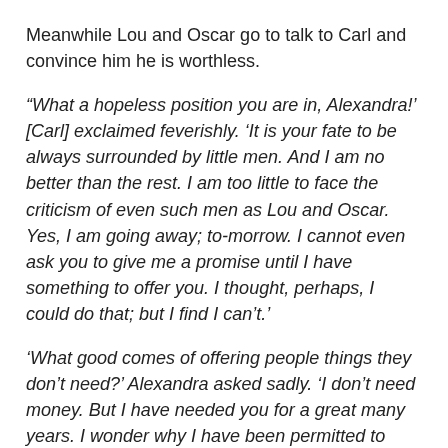Meanwhile Lou and Oscar go to talk to Carl and convince him he is worthless.
“What a hopeless position you are in, Alexandra!’ [Carl] exclaimed feverishly. ‘It is your fate to be always surrounded by little men. And I am no better than the rest. I am too little to face the criticism of even such men as Lou and Oscar. Yes, I am going away; to-morrow. I cannot even ask you to give me a promise until I have something to offer you. I thought, perhaps, I could do that; but I find I can’t.’
‘What good comes of offering people things they don’t need?’ Alexandra asked sadly. ‘I don’t need money. But I have needed you for a great many years. I wonder why I have been permitted to prosper, if only to take my friends